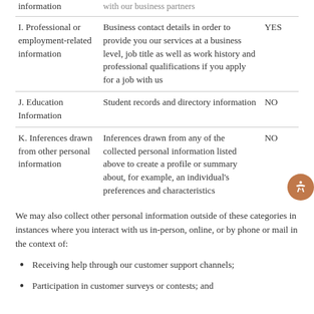| Category | Examples | Collected |
| --- | --- | --- |
| (partial top row - information) | with our business partners |  |
| I. Professional or employment-related information | Business contact details in order to provide you our services at a business level, job title as well as work history and professional qualifications if you apply for a job with us | YES |
| J. Education Information | Student records and directory information | NO |
| K. Inferences drawn from other personal information | Inferences drawn from any of the collected personal information listed above to create a profile or summary about, for example, an individual's preferences and characteristics | NO |
We may also collect other personal information outside of these categories in instances where you interact with us in-person, online, or by phone or mail in the context of:
Receiving help through our customer support channels;
Participation in customer surveys or contests; and